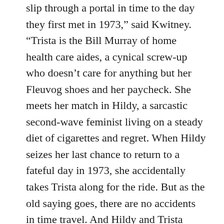slip through a portal in time to the day they first met in 1973,” said Kwitney. “Trista is the Bill Murray of home health care aides, a cynical screw-up who doesn’t care for anything but her Fleuvog shoes and her paycheck. She meets her match in Hildy, a sarcastic second-wave feminist living on a steady diet of cigarettes and regret. When Hildy seizes her last chance to return to a fateful day in 1973, she accidentally takes Trista along for the ride. But as the old saying goes, there are no accidents in time travel. And Hildy and Trista don’t remember each other, but they met each other 40 years earlier—on Hildy’s wedding day. Now they’ve got to come to terms with the past before they accidentally dismantle the future.”